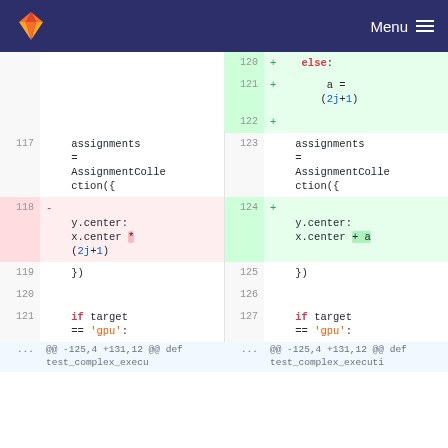GitLab navigation bar with logo and Menu
[Figure (screenshot): Git diff view showing code changes in a Python test file. Left side shows old code (lines 117-121+) and right side shows new code (lines 120-127+). Key change: line 118 removes 'y.center: x.center * (2j+1)' and line 124 adds 'y.center: x.center + a'. New lines 120-122 add an else block setting a = (2j+1).]